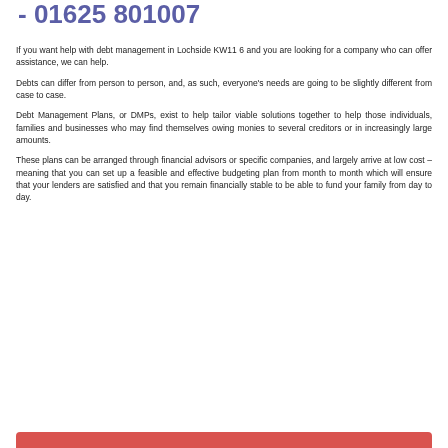- 01625 801007
If you want help with debt management in Lochside KW11 6 and you are looking for a company who can offer assistance, we can help.
Debts can differ from person to person, and, as such, everyone's needs are going to be slightly different from case to case.
Debt Management Plans, or DMPs, exist to help tailor viable solutions together to help those individuals, families and businesses who may find themselves owing monies to several creditors or in increasingly large amounts.
These plans can be arranged through financial advisors or specific companies, and largely arrive at low cost – meaning that you can set up a feasible and effective budgeting plan from month to month which will ensure that your lenders are satisfied and that you remain financially stable to be able to fund your family from day to day.